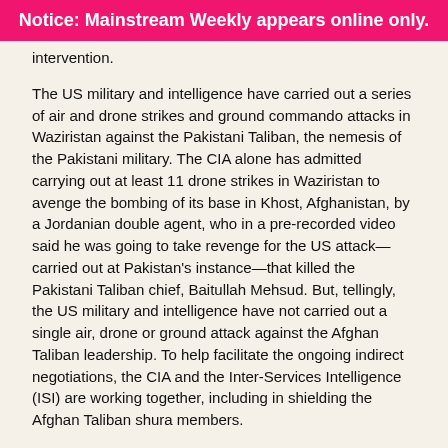Notice: Mainstream Weekly appears online only.
intervention.
The US military and intelligence have carried out a series of air and drone strikes and ground commando attacks in Waziristan against the Pakistani Taliban, the nemesis of the Pakistani military. The CIA alone has admitted carrying out at least 11 drone strikes in Waziristan to avenge the bombing of its base in Khost, Afghanistan, by a Jordanian double agent, who in a pre-recorded video said he was going to take revenge for the US attack—carried out at Pakistan's instance—that killed the Pakistani Taliban chief, Baitullah Mehsud. But, tellingly, the US military and intelligence have not carried out a single air, drone or ground attack against the Afghan Taliban leadership. To help facilitate the ongoing indirect negotiations, the CIA and the Inter-Services Intelligence (ISI) are working together, including in shielding the Afghan Taliban shura members.